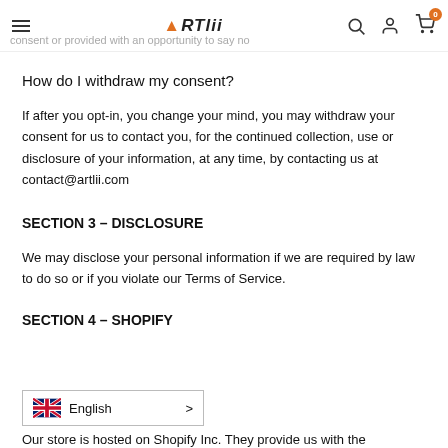ARTlii navigation header
consent or provided with an opportunity to say no
How do I withdraw my consent?
If after you opt-in, you change your mind, you may withdraw your consent for us to contact you, for the continued collection, use or disclosure of your information, at any time, by contacting us at contact@artlii.com
SECTION 3 – DISCLOSURE
We may disclose your personal information if we are required by law to do so or if you violate our Terms of Service.
SECTION 4 – SHOPIFY
English
Our store is hosted on Shopify Inc. They provide us with the